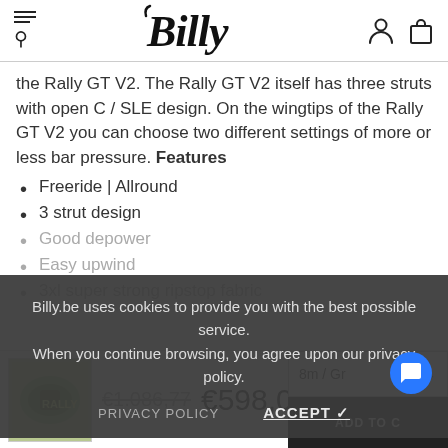Billy (logo) — navigation header with hamburger menu, search, user, and cart icons
the Rally GT V2. The Rally GT V2 itself has three struts with open C / SLE design. On the wingtips of the Rally GT V2 you can choose two different settings of more or less bar pressure. Features
Freeride | Allround
3 strut design
Billy.be uses cookies to provide you with the best possible service. When you continue browsing, you agree upon our privacy policy.
PRIVACY POLICY   ACCEPT ✓
Good depower
Easy upwind
3xl super strong ripstop fabric
€1.086,77  €598,00  8m / Gr  ADD TO [CART]